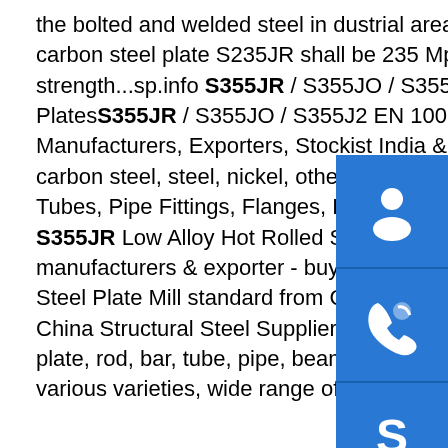the bolted and welded steel in dustrial area.The minimum yield strength of carbon steel plate S235JR shall be 235 Mpa for nominal thickness,and tensile strength...sp.info S355JR / S355JO / S355J2 EN 10025-2 Hot Rolled PlatesS355JR / S355JO / S355J2 EN 10025-2 Hot Coils & Plates : Manufacturers, Exporters, Stockist India & Suppliers Worldwide Stainless steel, carbon steel, steel, nickel, other ferrous & non-Ferrous metals in forms of Pipes, Tubes, Pipe Fittings, Flanges, Fasteners from Indiasp.info A572GR50 Q345B S355JR Low Alloy Hot Rolled Steel Plate ...Quality Hot Rolled Steel Plate manufacturers & exporter - buy A572GR50 Q345B S355JR Low Alloy Hot Rolled Steel Plate Mill standard from China manufacturer.sp.info Structural Steel - China Structural Steel Supplier,Factory ...Mainly supplied in forms of coil, sheet, plate, rod, bar, tube, pipe, beam, angle, flange, wire, strip, channel, etc., with various varieties, wide range of dimensions, high purity, stable chemical ...
[Figure (infographic): Three blue square buttons with white icons: headset/customer support icon, phone call icon, and Skype icon, arranged vertically on the right side]